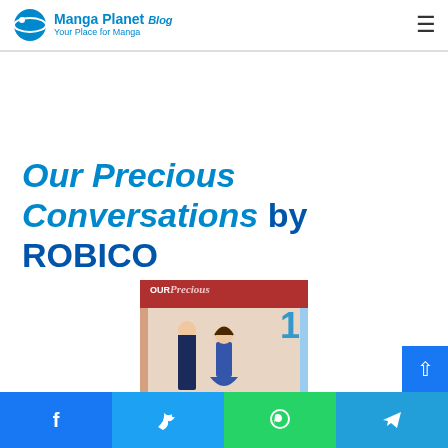Manga Planet Blog — Your Place for Manga
Our Precious Conversations by ROBICO
[Figure (photo): Book cover of 'Our Precious Conversations' Volume 1 by ROBICO, showing two high school students standing together.]
Facebook | Twitter | WhatsApp | Telegram share buttons